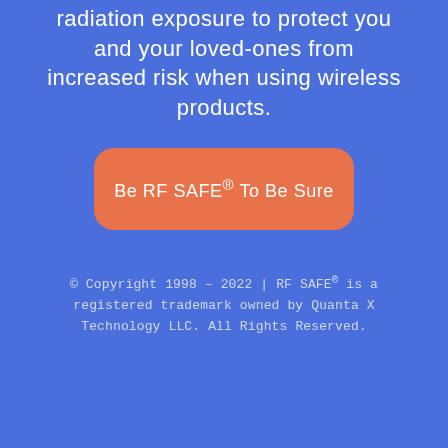radiation exposure to protect you and your loved-ones from increased risk when using wireless products.
Be RF SAFE® To Be Sure
© Copyright 1998 – 2022 | RF SAFE® is a registered trademark owned by Quanta X Technology LLC. All Rights Reserved.